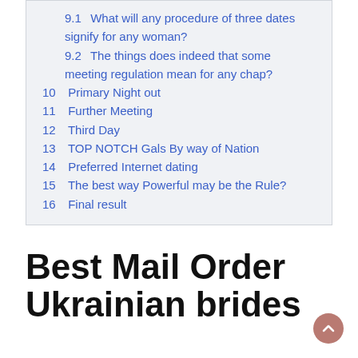9.1 What will any procedure of three dates signify for any woman?
9.2 The things does indeed that some meeting regulation mean for any chap?
10 Primary Night out
11 Further Meeting
12 Third Day
13 TOP NOTCH Gals By way of Nation
14 Preferred Internet dating
15 The best way Powerful may be the Rule?
16 Final result
Best Mail Order Ukrainian brides